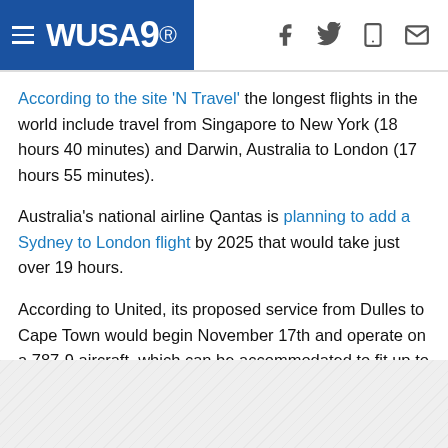WUSA9 navigation header with logo and social icons
According to the site 'N Travel' the longest flights in the world include travel from Singapore to New York (18 hours 40 minutes) and Darwin, Australia to London (17 hours 55 minutes).
Australia's national airline Qantas is planning to add a Sydney to London flight by 2025 that would take just over 19 hours.
According to United, its proposed service from Dulles to Cape Town would begin November 17th and operate on a 787-9 aircraft, which can be accommodated to fit up to 290 passengers.